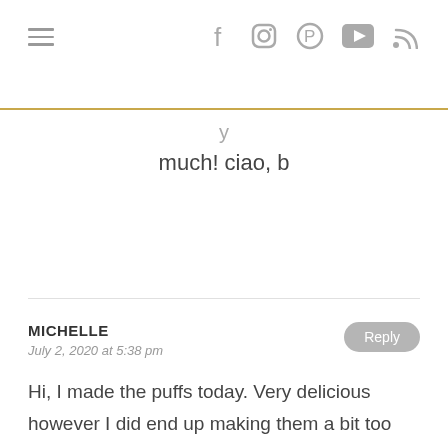Navigation and social icons header
much! ciao, b
MICHELLE
July 2, 2020 at 5:38 pm
Hi, I made the puffs today. Very delicious however I did end up making them a bit too big and the center did not bake through. What measuring spoomln size would you recommend? And would adding a bit more mango help smooth the consistency? I found mine to be a bit